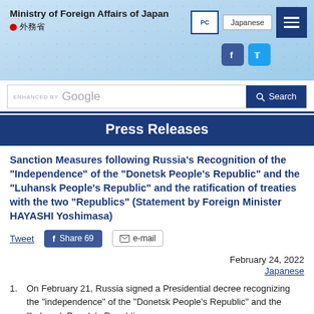Ministry of Foreign Affairs of Japan 外務省
Press Releases
Sanction Measures following Russia's Recognition of the "Independence" of the "Donetsk People's Republic" and the "Luhansk People's Republic" and the ratification of treaties with the two "Republics" (Statement by Foreign Minister HAYASHI Yoshimasa)
Tweet  Share 69  e-mail
February 24, 2022
Japanese
1. On February 21, Russia signed a Presidential decree recognizing the "independence" of the "Donetsk People's Republic" and the "Luhansk People's Republic"